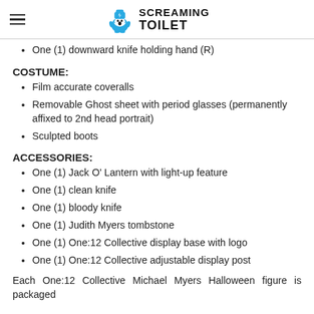Screaming Toilet
One (1) downward knife holding hand (R)
COSTUME:
Film accurate coveralls
Removable Ghost sheet with period glasses (permanently affixed to 2nd head portrait)
Sculpted boots
ACCESSORIES:
One (1) Jack O' Lantern with light-up feature
One (1) clean knife
One (1) bloody knife
One (1) Judith Myers tombstone
One (1) One:12 Collective display base with logo
One (1) One:12 Collective adjustable display post
Each One:12 Collective Michael Myers Halloween figure is packaged